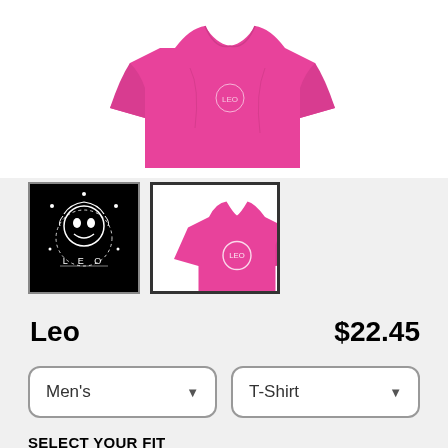[Figure (photo): Pink t-shirt product photo on white background]
[Figure (photo): Thumbnail 1: Leo zodiac design on black background]
[Figure (photo): Thumbnail 2: Pink t-shirt with Leo design, selected]
Leo
$22.45
Men's (dropdown)
T-Shirt (dropdown)
SELECT YOUR FIT
$22.45
Regular
$27.95
Extra Soft